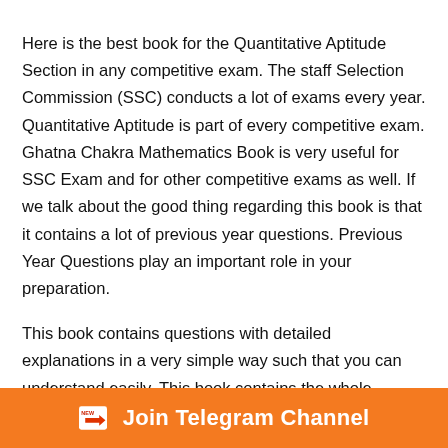Here is the best book for the Quantitative Aptitude Section in any competitive exam. The staff Selection Commission (SSC) conducts a lot of exams every year. Quantitative Aptitude is part of every competitive exam. Ghatna Chakra Mathematics Book is very useful for SSC Exam and for other competitive exams as well. If we talk about the good thing regarding this book is that it contains a lot of previous year questions. Previous Year Questions play an important role in your preparation.
This book contains questions with detailed explanations in a very simple way such that you can understand easily. This book contains the whole syllabus for the Quantitative Aptitude section of SSC Exams. The details of the book and its
[Figure (infographic): Orange banner at the bottom with a 'NEW' badge icon, an arrow icon, and the text 'Join Telegram Channel' in white bold font.]